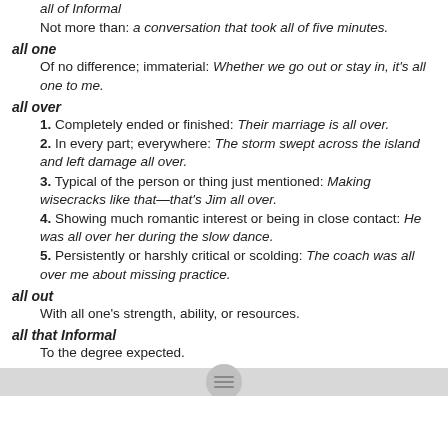all of Informal
Not more than: a conversation that took all of five minutes.
all one
Of no difference; immaterial: Whether we go out or stay in, it's all one to me.
all over
1. Completely ended or finished: Their marriage is all over.
2. In every part; everywhere: The storm swept across the island and left damage all over.
3. Typical of the person or thing just mentioned: Making wisecracks like that—that's Jim all over.
4. Showing much romantic interest or being in close contact: He was all over her during the slow dance.
5. Persistently or harshly critical or scolding: The coach was all over me about missing practice.
all out
With all one's strength, ability, or resources.
all that Informal
To the degree expected.
all there